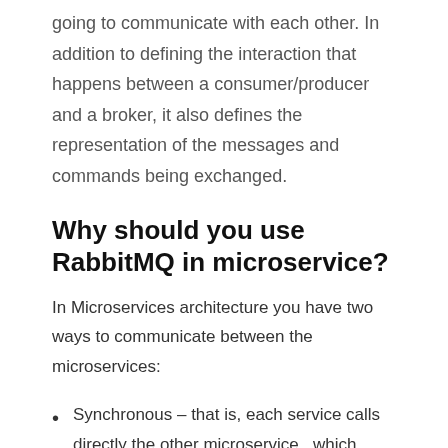going to communicate with each other. In addition to defining the interaction that happens between a consumer/producer and a broker, it also defines the representation of the messages and commands being exchanged.
Why should you use RabbitMQ in microservice?
In Microservices architecture you have two ways to communicate between the microservices:
Synchronous – that is, each service calls directly the other microservice , which results in dependency between the services. Request-Response pattern is an